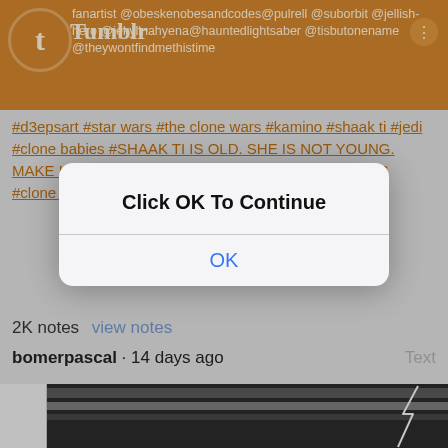[Figure (screenshot): Tumblr app header with orange background, Tumblr logo and usernames: fanartist @obeskenobesandcodes@pulrell @suborbit @jellish-hero @jekyllnahyena@hauntedlightsaber @tisbutonename @theywontfindmethistime]
#d3epsart #star wars #the clone wars #kamino #shaak ti #jedi #clone babies #SHAAK TI IS OLD. SHE IS NOT YOUNG. MAKE HER THE BADASS MIDDLE AGED DESI SHE IS #clone #tck #the Shaak design u asked for
2K notes   view notes
bomerpascal · 14 days ago   Text
[Figure (illustration): Black and white illustration showing a figure with lightning in the background, partially obscured by dialog box]
[Figure (screenshot): iOS-style dialog box with title 'Click OK To Continue' and an OK button]